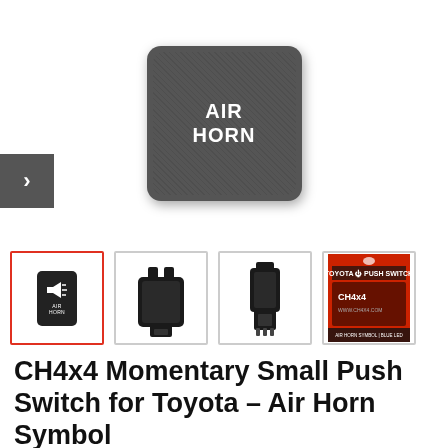[Figure (photo): Dark gray square push switch button with rounded corners and textured surface, labeled AIR HORN in white bold text]
[Figure (photo): Row of four product thumbnails: 1) small black switch with air horn icon (selected with red border), 2) black switch from back/top angle, 3) black switch from side angle, 4) product packaging red and black box labeled TOYOTA PUSH SWITCH CH4x4]
CH4x4 Momentary Small Push Switch for Toyota – Air Horn Symbol